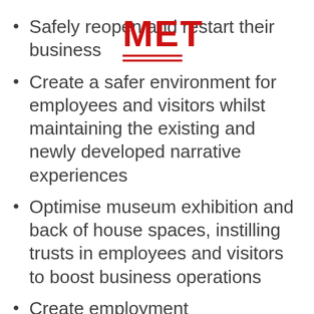Safely reopen and restart their business
Create a safer environment for employees and visitors whilst maintaining the existing and newly developed narrative experiences
Optimise museum exhibition and back of house spaces, instilling trusts in employees and visitors to boost business operations
Create employment opportunities – which in turn will help in the nation's